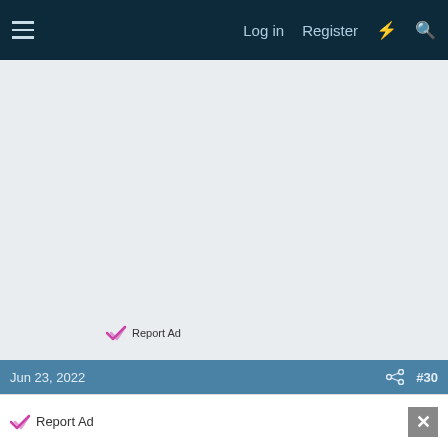Log in  Register
[Figure (screenshot): Advertisement area with light gray background and 'Report Ad' link with checkmark icon in lower center]
Jun 23, 2022  #30
PeterII
Report Ad